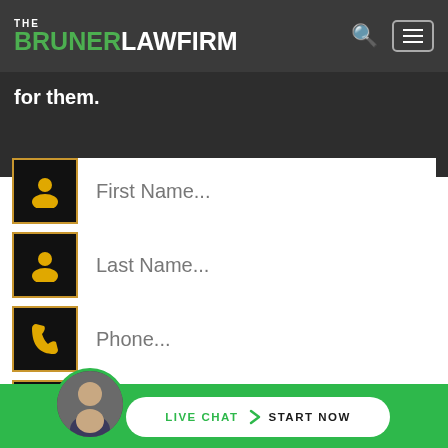THE BRUNER LAW FIRM
for them.
[Figure (screenshot): Contact form with four input fields: First Name, Last Name, Phone, Email — each with a yellow icon on black background on the left]
[Figure (infographic): Green bottom bar with Live Chat | Start Now button and avatar photo]